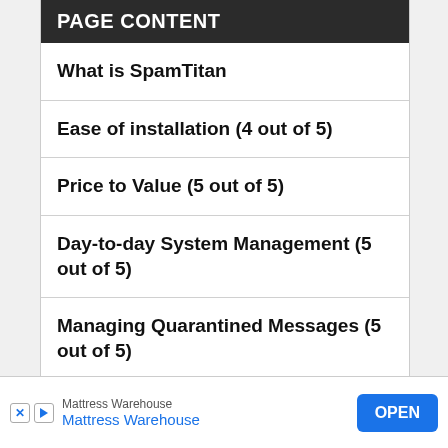PAGE CONTENT
What is SpamTitan
Ease of installation (4 out of 5)
Price to Value (5 out of 5)
Day-to-day System Management (5 out of 5)
Managing Quarantined Messages (5 out of 5)
Help and Support (5 out of 5)
Conclusion
[Figure (other): Advertisement banner for Mattress Warehouse with an OPEN button]